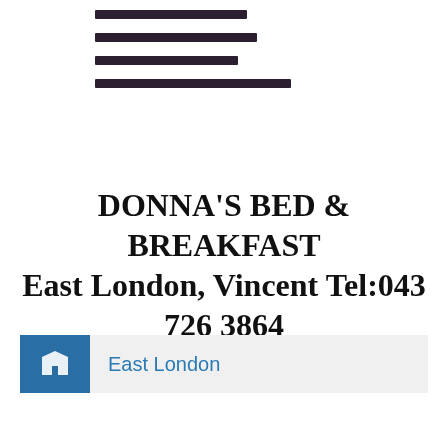[Figure (logo): Four horizontal dark bars of varying widths forming a logo or decorative element]
DONNA'S BED & BREAKFAST East London, Vincent Tel:043 726 3864
East London